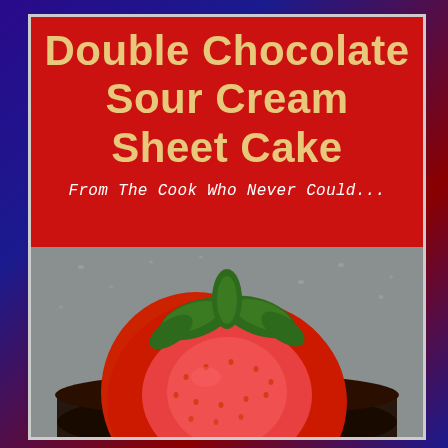Double Chocolate Sour Cream Sheet Cake
From The Cook Who Never Could...
[Figure (photo): Close-up photo of a halved fresh strawberry with green leaves/stem on top, placed on a dark chocolate cake surface with a grayish-silver background with water droplets]